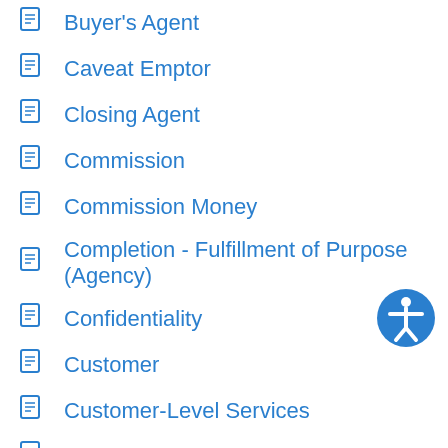Buyer's Agent
Caveat Emptor
Closing Agent
Commission
Commission Money
Completion - Fulfillment of Purpose (Agency)
Confidentiality
Customer
Customer-Level Services
Customers
Show all articles ( 61 )
Property Condition Disclosures
Asbestos